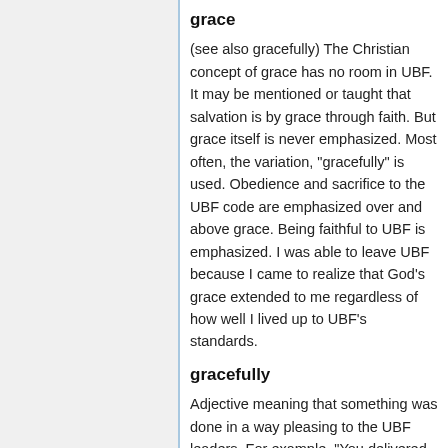grace
(see also gracefully) The Christian concept of grace has no room in UBF. It may be mentioned or taught that salvation is by grace through faith. But grace itself is never emphasized. Most often, the variation, "gracefully" is used. Obedience and sacrifice to the UBF code are emphasized over and above grace. Being faithful to UBF is emphasized. I was able to leave UBF because I came to realize that God's grace extended to me regardless of how well I lived up to UBF's standards.
gracefully
Adjective meaning that something was done in a way pleasing to the UBF leaders. For example, "You delivered messagee very gracefully."